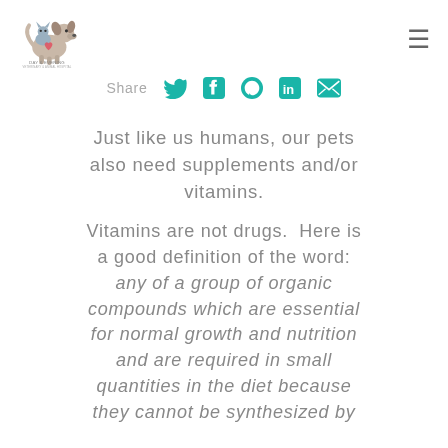Day & Evening [logo with dog/cat]
Share [Twitter] [Facebook] [Pinterest] [LinkedIn] [Email]
Just like us humans, our pets also need supplements and/or vitamins.
Vitamins are not drugs.  Here is a good definition of the word: any of a group of organic compounds which are essential for normal growth and nutrition and are required in small quantities in the diet because they cannot be synthesized by